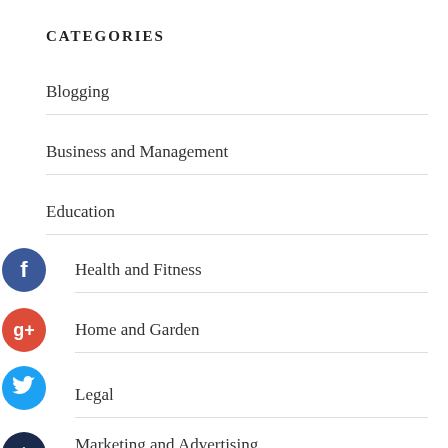CATEGORIES
Blogging
Business and Management
Education
Health and Fitness
Home and Garden
Legal
Marketing and Advertising
Pets